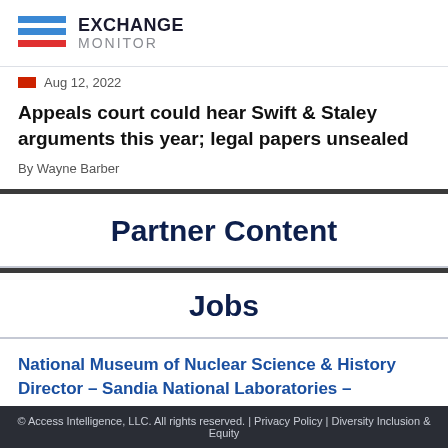EXCHANGE MONITOR
Aug 12, 2022
Appeals court could hear Swift & Staley arguments this year; legal papers unsealed
By Wayne Barber
Partner Content
Jobs
National Museum of Nuclear Science & History Director – Sandia National Laboratories –
© Access Intelligence, LLC. All rights reserved. | Privacy Policy | Diversity Inclusion & Equity